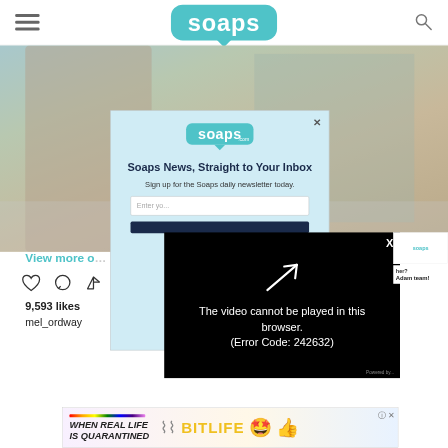soaps.com
[Figure (screenshot): Website screenshot of soaps.com showing a header with hamburger menu, soaps logo in teal speech bubble, and search icon. Below is a background photo of two people embracing on stairs. A modal popup overlay with light blue background shows the Soaps.com logo, headline 'Soaps News, Straight to Your Inbox', subtext 'Sign up for the Soaps daily newsletter today.', an email input field and a dark submit button. A video player overlay shows 'The video cannot be played in this browser. (Error Code: 242632)' on black background with X close button. Bottom shows Instagram post details: 'View more o…', heart/comment/share icons, '9,593 likes', 'mel_ordway'. An advertisement banner at the bottom reads 'WHEN REAL LIFE IS QUARANTINED' with BitLife game ad.]